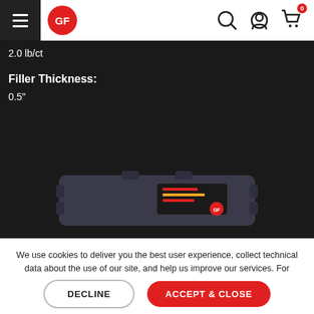[Figure (screenshot): Website navigation bar with hamburger menu, GF red logo circle, search icon, user icon, and cart icon with 0 badge]
2.0 lb/ct
Filler Thickness:
0.5"
[Figure (photo): Dark-colored rectangular electronic device/module photographed from above at an angle, with a GF logo sticker visible]
We use cookies to deliver you the best user experience, collect technical data about the use of our site, and help us improve our services. For more information please view our Privacy Policy.
DECLINE
ACCEPT & CLOSE